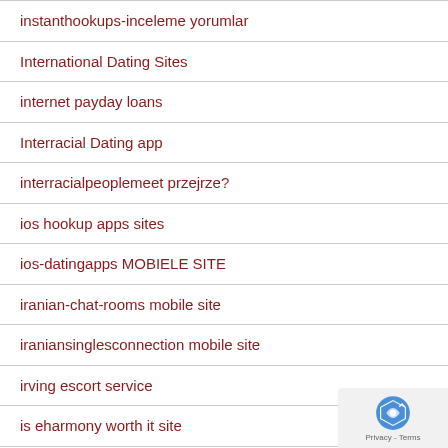instanthookups-inceleme yorumlar
International Dating Sites
internet payday loans
Interracial Dating app
interracialpeoplemeet przejrze?
ios hookup apps sites
ios-datingapps MOBIELE SITE
iranian-chat-rooms mobile site
iraniansinglesconnection mobile site
irving escort service
is eharmony worth it site
island-chat-rooms app